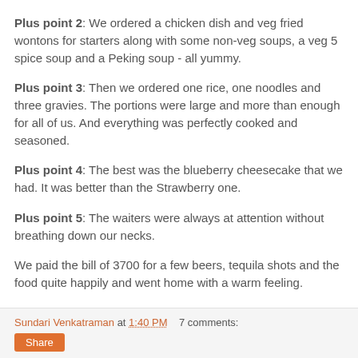Plus point 2: We ordered a chicken dish and veg fried wontons for starters along with some non-veg soups, a veg 5 spice soup and a Peking soup - all yummy.
Plus point 3: Then we ordered one rice, one noodles and three gravies. The portions were large and more than enough for all of us. And everything was perfectly cooked and seasoned.
Plus point 4: The best was the blueberry cheesecake that we had. It was better than the Strawberry one.
Plus point 5: The waiters were always at attention without breathing down our necks.
We paid the bill of 3700 for a few beers, tequila shots and the food quite happily and went home with a warm feeling.
Sundari Venkatraman at 1:40 PM    7 comments: